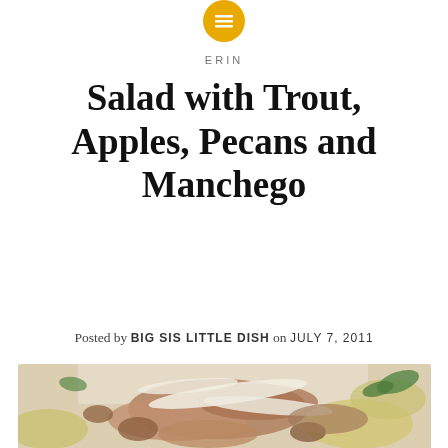[Figure (logo): Circular orange/yellow button icon with horizontal menu lines at the top center of the page]
ERIN
Salad with Trout, Apples, Pecans and Manchego
Posted by BIG SIS LITTLE DISH on JULY 7, 2011
[Figure (photo): Close-up photograph of a salad with smoked trout, apple slices, pecans, and shaved Manchego cheese on a white plate with green leaves]